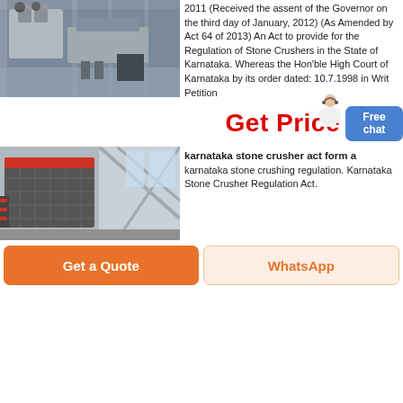[Figure (photo): Industrial machinery in a large factory hall - conveyor and manufacturing equipment]
2011 (Received the assent of the Governor on the third day of January, 2012) (As Amended by Act 64 of 2013) An Act to provide for the Regulation of Stone Crushers in the State of Karnataka. Whereas the Hon'ble High Court of Karnataka by its order dated: 10.7.1998 in Writ Petition
Get Price
Free chat
[Figure (photo): Stone crusher equipment in an industrial building with steel framework]
karnataka stone crusher act form a
karnataka stone crushing regulation. Karnataka Stone Crusher Regulation Act.
Get a Quote
WhatsApp